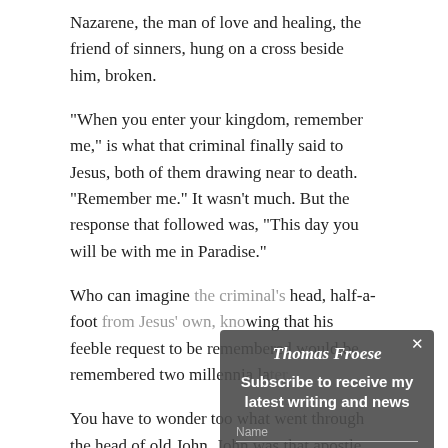Nazarene, the man of love and healing, the friend of sinners, hung on a cross beside him, broken.
“When you enter your kingdom, remember me,” is what that criminal finally said to Jesus, both of them drawing near to death. “Remember me.” It wasn’t much. But the response that followed was, “This day you will be with me in Paradise.”
Who can imagine the criminal’s head, half-a-foot from Jesus’ own, knowing that his feeble request to be remembered would be remembered two millennia later.
You have to wonder too what went through the head of old John. John was that apostle of Jesus, the one who (long after the business of Jesus’ crucifixion and reported resurrection) was left by the authorities to rot on the island of Patmos, also like a common criminal.
It was John, commonly credited with writing the book of
[Figure (other): Subscribe popup overlay on top of article text, showing name 'Thomas Froese' in italic, subscribe text, Name and Email fields, and a Subscribe button with salmon/red background.]